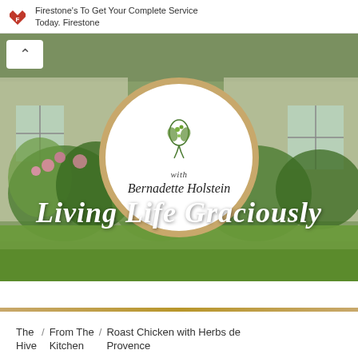Firestone's To Get Your Complete Service Today. Firestone
[Figure (photo): Hero image of a garden cottage with lush greenery, flowers, and a circular logo overlay reading 'with Bernadette Holstein' with vine decoration, over the text Living Life Graciously in italic white script]
Living Life Graciously
The Hive / From The Kitchen / Roast Chicken with Herbs de Provence